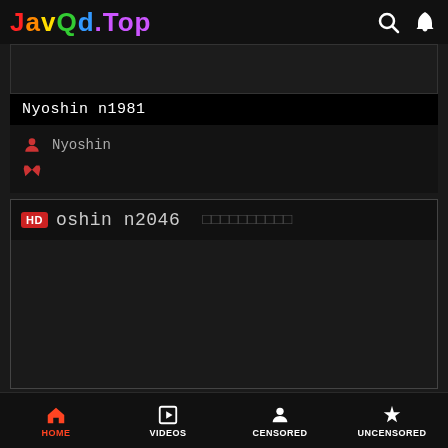JavQd.Top
[Figure (screenshot): Dark video thumbnail card top portion (cropped)]
Nyoshin n1981
Nyoshin
[Figure (screenshot): Second video card with HD badge showing 'oshin n2046' and Japanese characters]
HOME  VIDEOS  CENSORED  UNCENSORED